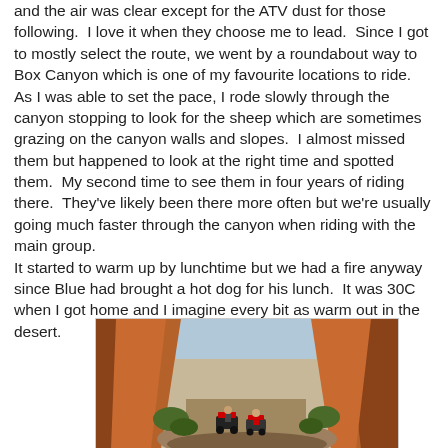and the air was clear except for the ATV dust for those following.  I love it when they choose me to lead.  Since I got to mostly select the route, we went by a roundabout way to Box Canyon which is one of my favourite locations to ride.  As I was able to set the pace, I rode slowly through the canyon stopping to look for the sheep which are sometimes grazing on the canyon walls and slopes.  I almost missed them but happened to look at the right time and spotted them.  My second time to see them in four years of riding there.  They've likely been there more often but we're usually going much faster through the canyon when riding with the main group.
It started to warm up by lunchtime but we had a fire anyway since Blue had brought a hot dog for his lunch.  It was 30C when I got home and I imagine every bit as warm out in the desert.
[Figure (photo): ATVs riding through a narrow red rock canyon (Box Canyon). Tall reddish-orange canyon walls on both sides, green shrubs visible, riders in the distance on quad bikes.]